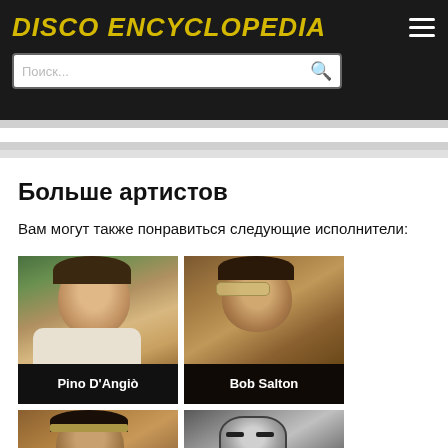Disco Encyclopedia
Больше артистов
Вам могут также понравиться следующие исполнители:
[Figure (photo): Artist card: Pino D'Angiò — photo of a young man with dark hair, light shirt, outdoor background]
[Figure (photo): Artist card: Bob Salton — photo of a person wearing sunglasses, brown background]
[Figure (photo): Artist card (bottom-left): man with dark curly hair and headband]
[Figure (photo): Artist card (bottom-right): silver robot/mask costume with woman in dark clothing]